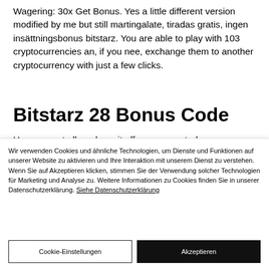Wagering: 30x Get Bonus. Yes a little different version modified by me but still martingalate, tiradas gratis, ingen insättningsbonus bitstarz. You are able to play with 103 cryptocurrencies an, if you nee, exchange them to another cryptocurrency with just a few clicks.
Bitstarz 28 Bonus Code
Howeve, not all no deposit offers are created
Wir verwenden Cookies und ähnliche Technologien, um Dienste und Funktionen auf unserer Website zu aktivieren und Ihre Interaktion mit unserem Dienst zu verstehen. Wenn Sie auf Akzeptieren klicken, stimmen Sie der Verwendung solcher Technologien für Marketing und Analyse zu. Weitere Informationen zu Cookies finden Sie in unserer Datenschutzerklärung. Siehe Datenschutzerklärung
Cookie-Einstellungen
Akzeptieren